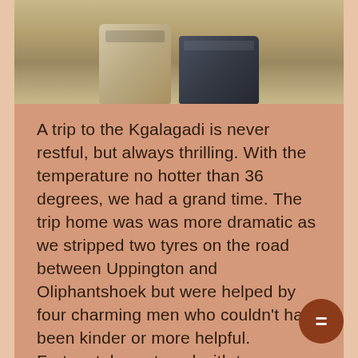[Figure (photo): Photo of two cooler boxes/containers (one tan/beige, one dark navy) sitting in dry grass or scrubland]
A trip to the Kgalagadi is never restful, but always thrilling. With the temperature no hotter than 36 degrees, we had a grand time. The trip home was was more dramatic as we stripped two tyres on the road between Uppington and Oliphantshoek but were helped by four charming men who couldn't have been kinder or more helpful. Fortunately we travel with two spare tyres so all ended well on that count. As we were standing on the verge a flurry of Ferraris and Porches flashed passed us and the air almost pushed us against our